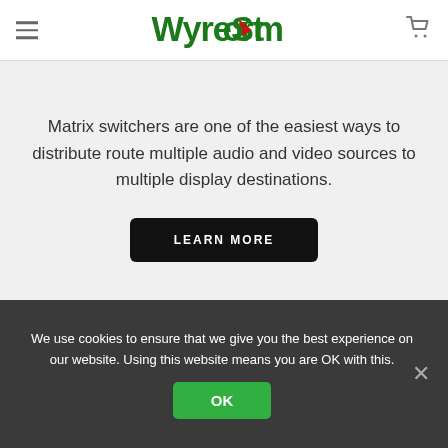WyreStorm (logo with hamburger menu and cart icon)
Matrix switchers are one of the easiest ways to distribute route multiple audio and video sources to multiple display destinations.
LEARN MORE
We use cookies to ensure that we give you the best experience on our website. Using this website means you are OK with this.
OK